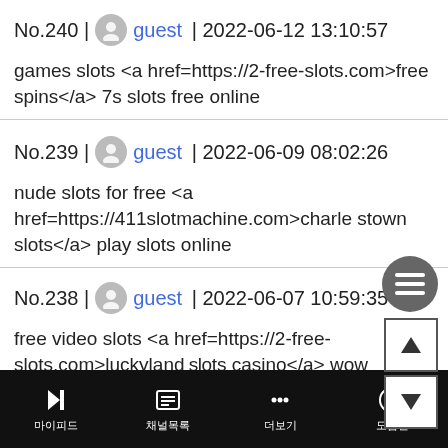No.240 | guest | 2022-06-12 13:10:57
games slots <a href=https://2-free-slots.com>free spins</a> 7s slots free online
No.239 | guest | 2022-06-09 08:02:26
nude slots for free <a href=https://411slotmachine.com>charlestown slots</a> play slots online
No.238 | guest | 2022-06-07 10:59:35
free video slots <a href=https://2-free-slots.com>luckylandslots casino</a> wow equipment slots
No.237 | guest | 2022-05-21 14:45:30
dissertation...
⚑ 마이피드   ⊞ 채널목록   ··· 더보기   ? 도움말